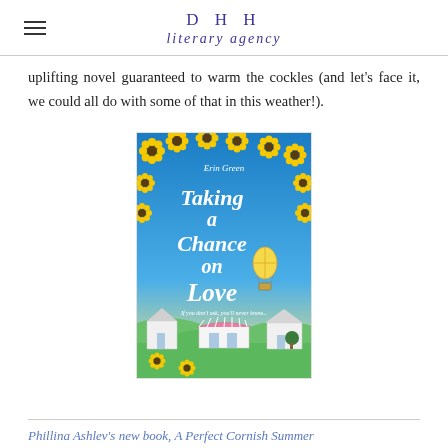DHH literary agency
uplifting novel guaranteed to warm the cockles (and let's face it, we could all do with some of that in this weather!).
[Figure (illustration): Book cover of 'Taking a Chance on Love' by Erin Green. Blue sky background with sunflowers around the border, a hot air balloon, and illustrated village buildings on rolling green hills. Tagline: If you don't ask, you'll never know...]
Phillina Ashlev's new book. A Perfect Cornish Summer